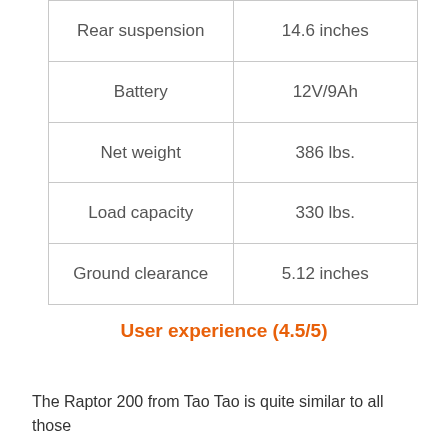| Rear suspension | 14.6 inches |
| Battery | 12V/9Ah |
| Net weight | 386 lbs. |
| Load capacity | 330 lbs. |
| Ground clearance | 5.12 inches |
User experience (4.5/5)
The Raptor 200 from Tao Tao is quite similar to all those